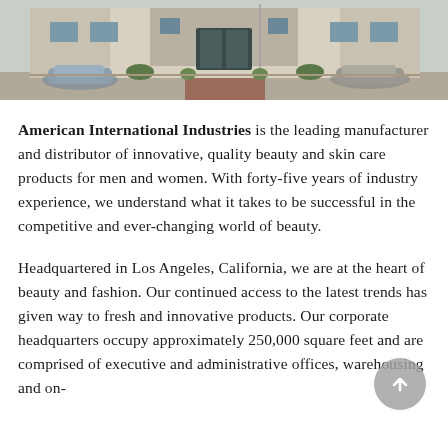[Figure (photo): Exterior photograph of a commercial/industrial building with parked cars in front, palm trees, and a parking lot. The building has a beige stucco facade with large dark glass entrance doors.]
American International Industries is the leading manufacturer and distributor of innovative, quality beauty and skin care products for men and women. With forty-five years of industry experience, we understand what it takes to be successful in the competitive and ever-changing world of beauty.
Headquartered in Los Angeles, California, we are at the heart of beauty and fashion. Our continued access to the latest trends has given way to fresh and innovative products. Our corporate headquarters occupy approximately 250,000 square feet and are comprised of executive and administrative offices, warehousing and on-